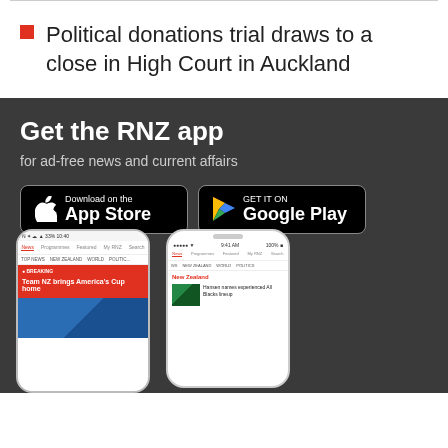Political donations trial draws to a close in High Court in Auckland
[Figure (infographic): RNZ app advertisement banner on dark grey background with title 'Get the RNZ app', subtitle 'for ad-free news and current affairs', App Store and Google Play download buttons, and two phone mockups showing the RNZ app interface.]